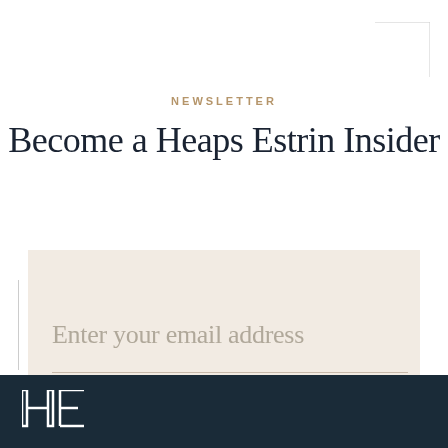NEWSLETTER
Become a Heaps Estrin Insider
Enter your email address
SIGN UP
[Figure (logo): Heaps Estrin logo mark — geometric H and E monogram in white lines on dark navy background]